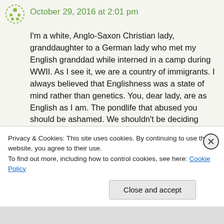October 29, 2016 at 2:01 pm
I'm a white, Anglo-Saxon Christian lady, granddaughter to a German lady who met my English granddad while interned in a camp during WWII. As I see it, we are a country of immigrants. I always believed that Englishness was a state of mind rather than genetics. You, dear lady, are as English as I am. The pondlife that abused you should be ashamed. We shouldn't be deciding about people by what they're wearing, the colour of their skin, their social status or their religion.
Privacy & Cookies: This site uses cookies. By continuing to use this website, you agree to their use.
To find out more, including how to control cookies, see here: Cookie Policy
Close and accept